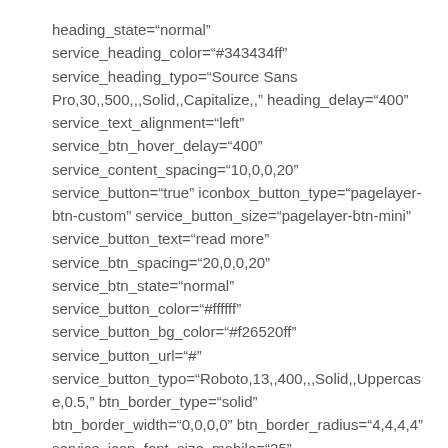heading_state="normal" service_heading_color="#343434ff" service_heading_typo="Source Sans Pro,30,,500,,,Solid,,Capitalize,," heading_delay="400" service_text_alignment="left" service_btn_hover_delay="400" service_content_spacing="10,0,0,20" service_button="true" iconbox_button_type="pagelayer-btn-custom" service_button_size="pagelayer-btn-mini" service_button_text="read more" service_btn_spacing="20,0,0,20" service_btn_state="normal" service_button_color="#ffffff" service_button_bg_color="#f26520ff" service_button_url="#" service_button_typo="Roboto,13,,400,,,Solid,,Uppercase,0.5," btn_border_type="solid" btn_border_width="0,0,0,0" btn_border_radius="4,4,4,4" service_icon_font_size_mobile="25"